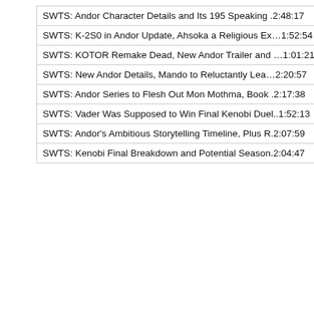| SWTS: Andor Character Details and Its 195 Speaking . | 2:48:17 |
| SWTS: K-2S0 in Andor Update, Ahsoka a Religious Ex… | 1:52:54 |
| SWTS: KOTOR Remake Dead, New Andor Trailer and … | 1:01:21 |
| SWTS: New Andor Details, Mando to Reluctantly Lea… | 2:20:57 |
| SWTS: Andor Series to Flesh Out Mon Mothma, Book . | 2:17:38 |
| SWTS: Vader Was Supposed to Win Final Kenobi Duel.. | 1:52:13 |
| SWTS: Andor's Ambitious Storytelling Timeline, Plus R. | 2:07:59 |
| SWTS: Kenobi Final Breakdown and Potential Season. | 2:04:47 |